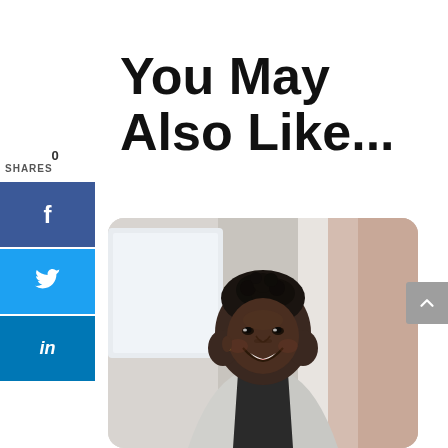You May Also Like...
0 SHARES
[Figure (infographic): Social share buttons: Facebook (f), Twitter (bird icon), LinkedIn (in)]
[Figure (photo): A smiling young Black woman with short natural hair wearing a light grey blazer, photographed in a bright office-like setting with a blurred background.]